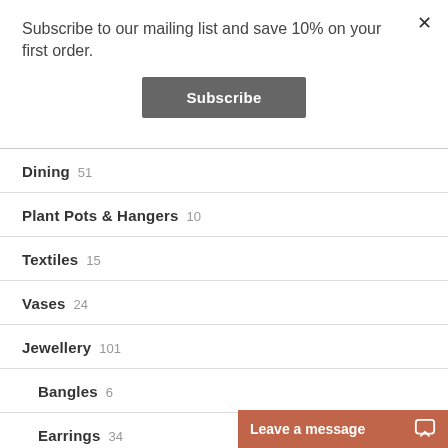Subscribe to our mailing list and save 10% on your first order.
Subscribe
Dining 51
Plant Pots & Hangers 10
Textiles 15
Vases 24
Jewellery 101
Bangles 6
Earrings 34
Leave a message